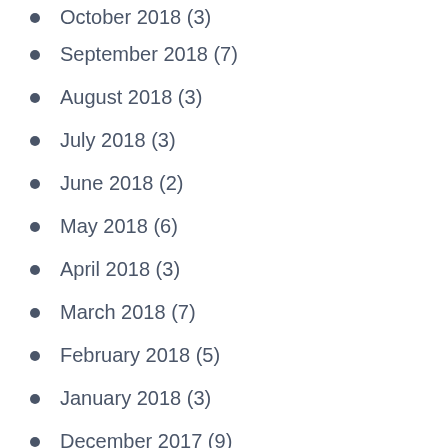October 2018 (3)
September 2018 (7)
August 2018 (3)
July 2018 (3)
June 2018 (2)
May 2018 (6)
April 2018 (3)
March 2018 (7)
February 2018 (5)
January 2018 (3)
December 2017 (9)